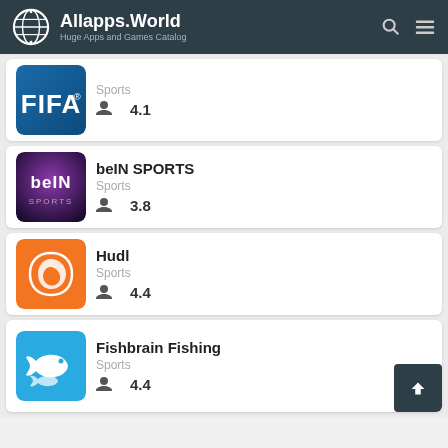Allapps.World — Huge Apps and Games Catalog
FIFA — Sports — Rating: 4.1
beIN SPORTS — Sports — Rating: 3.8
Hudl — Sports — Rating: 4.4
Fishbrain Fishing — Sports — Rating: 4.4